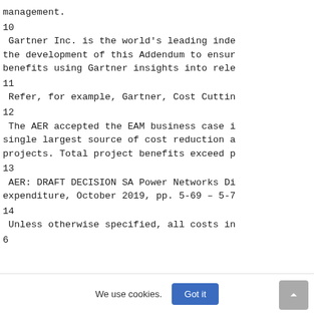management.
10
Gartner Inc. is the world's leading inde the development of this Addendum to ensur benefits using Gartner insights into rele
11
Refer, for example, Gartner, Cost Cuttin
12
The AER accepted the EAM business case i single largest source of cost reduction a projects. Total project benefits exceed p
13
AER: DRAFT DECISION SA Power Networks Di expenditure, October 2019, pp. 5-69 – 5-7
14
Unless otherwise specified, all costs in
6